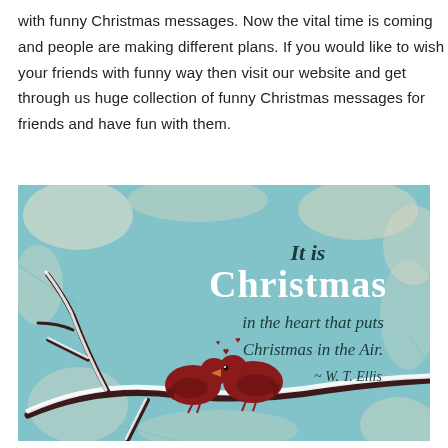with funny Christmas messages. Now the vital time is coming and people are making different plans. If you would like to wish your friends with funny way then visit our website and get through us huge collection of funny Christmas messages for friends and have fun with them.
[Figure (illustration): Vintage-style Christmas greeting card with teal/blue distressed background. Two red birds sitting on a snow-covered branch with small red hearts floating above them. Text reads: 'It is Christmas in the heart that puts Christmas in the Air. ~ W. T. Ellis']